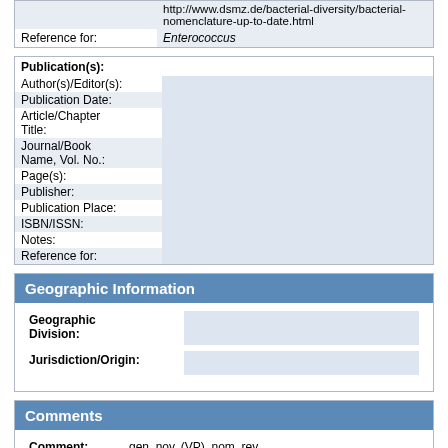|  |  |
| --- | --- |
|  | http://www.dsmz.de/bacterial-diversity/bacterial-nomenclature-up-to-date.html |
| Reference for: | Enterococcus |
Publication(s):
|  |  |
| --- | --- |
| Author(s)/Editor(s): |  |
| Publication Date: |  |
| Article/Chapter Title: |  |
| Journal/Book Name, Vol. No.: |  |
| Page(s): |  |
| Publisher: |  |
| Publication Place: |  |
| ISBN/ISSN: |  |
| Notes: |  |
| Reference for: |  |
Geographic Information
| Geographic Division: |  |
| --- | --- |
| Jurisdiction/Origin: |  |
Comments
| Comment: | gen. nov. (VP), nom. rev. |
| --- | --- |